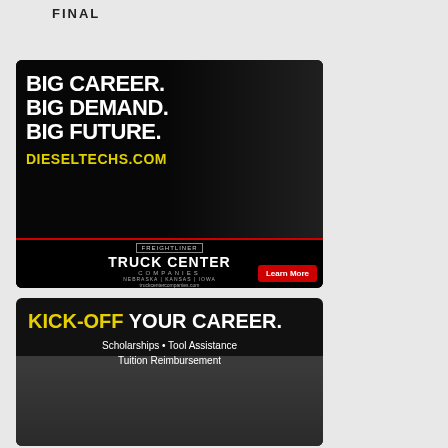FINAL
[Figure (photo): Advertisement for Truck Center Companies featuring a mechanic with crossed arms. Text reads: BIG CAREER. BIG DEMAND. BIG FUTURE. DIESELTECHS.COM. Bottom banner shows Freightliner Truck Center Companies branding with locations Nebraska, Kansas, Iowa and truckcentercompanies.com. Learn More button.]
[Figure (photo): Advertisement with text: KICK-OFF YOUR CAREER. Scholarships • Tool Assistance Tuition Reimbursement. Shows a young person working on an engine.]